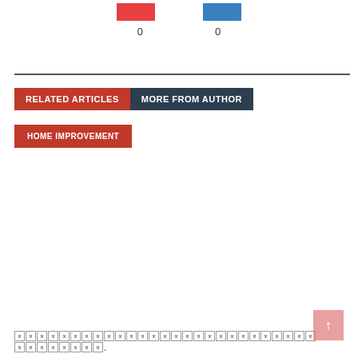[Figure (other): Two colored blocks (red and blue) with counts below them: 0 and 0]
0   0
RELATED ARTICLES   MORE FROM AUTHOR
HOME IMPROVEMENT
↑
[redacted footer text] .